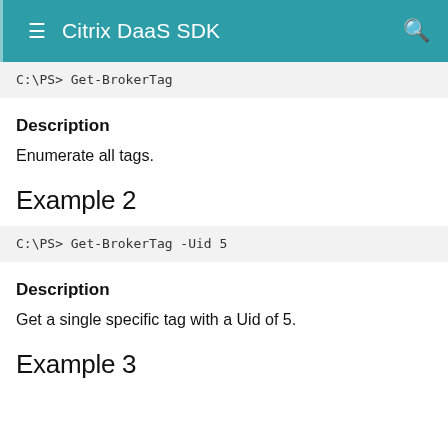Citrix DaaS SDK
C:\PS> Get-BrokerTag
Description
Enumerate all tags.
Example 2
C:\PS> Get-BrokerTag -Uid 5
Description
Get a single specific tag with a Uid of 5.
Example 3